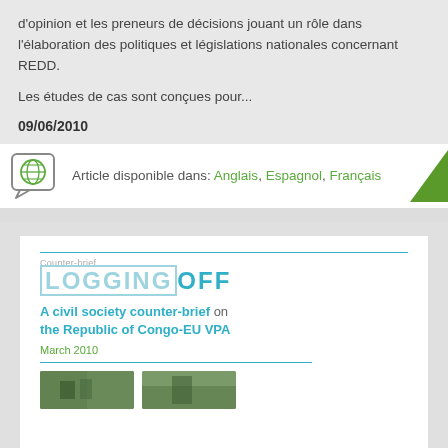d'opinion et les preneurs de décisions jouant un rôle dans l'élaboration des politiques et législations nationales concernant REDD.
Les études de cas sont conçues pour...
09/06/2010
Article disponible dans: Anglais, Espagnol, Français
[Figure (screenshot): Cover of a document titled 'LOGGING OFF - A civil society counter-brief on the Republic of Congo-EU VPA', dated March 2010, with teal dividing lines and two photos at the bottom.]